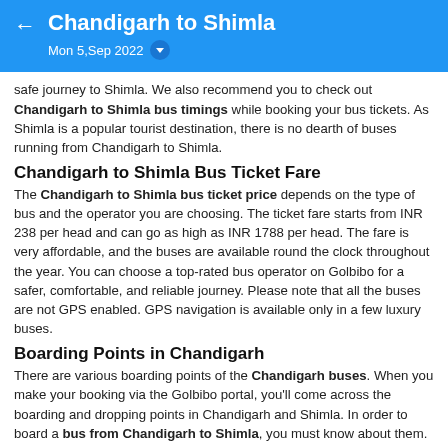Chandigarh to Shimla — Mon 5,Sep 2022
safe journey to Shimla. We also recommend you to check out Chandigarh to Shimla bus timings while booking your bus tickets. As Shimla is a popular tourist destination, there is no dearth of buses running from Chandigarh to Shimla.
Chandigarh to Shimla Bus Ticket Fare
The Chandigarh to Shimla bus ticket price depends on the type of bus and the operator you are choosing. The ticket fare starts from INR 238 per head and can go as high as INR 1788 per head. The fare is very affordable, and the buses are available round the clock throughout the year. You can choose a top-rated bus operator on Golbibo for a safer, comfortable, and reliable journey. Please note that all the buses are not GPS enabled. GPS navigation is available only in a few luxury buses.
Boarding Points in Chandigarh
There are various boarding points of the Chandigarh buses. When you make your booking via the Golbibo portal, you'll come across the boarding and dropping points in Chandigarh and Shimla. In order to board a bus from Chandigarh to Shimla, you must know about them. So, we are mentioning a few popular boarding points in Chandigarh below:
Tribune Chowk.
Park Plaza- Zirakpur
Sector 43 Hp Petrol Pump Opp Sec 43 Bus Stand SD
Majri Chowk Redlight Sector 1 Panchkula
Sec 43